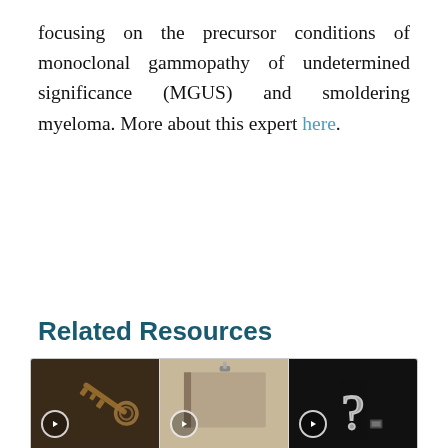focusing on the precursor conditions of monoclonal gammopathy of undetermined significance (MGUS) and smoldering myeloma. More about this expert here.
See More From Fact of Fiction? Myeloma
Related Resources
[Figure (photo): Three thumbnail images showing: 1) a vintage key on dark background, 2) a closed book or binder, 3) a chalk question mark on dark background. Each has a play button overlay.]